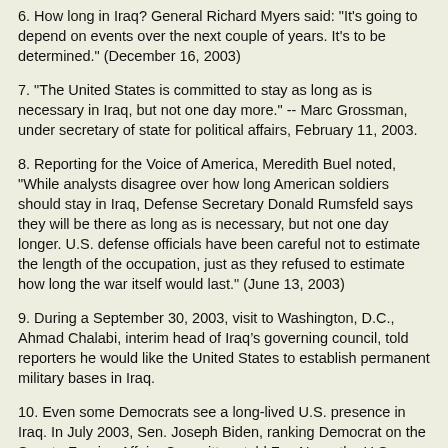6. How long in Iraq? General Richard Myers said: "It's going to depend on events over the next couple of years. It's to be determined." (December 16, 2003)
7. "The United States is committed to stay as long as is necessary in Iraq, but not one day more." -- Marc Grossman, under secretary of state for political affairs, February 11, 2003.
8. Reporting for the Voice of America, Meredith Buel noted, "While analysts disagree over how long American soldiers should stay in Iraq, Defense Secretary Donald Rumsfeld says they will be there as long as is necessary, but not one day longer. U.S. defense officials have been careful not to estimate the length of the occupation, just as they refused to estimate how long the war itself would last." (June 13, 2003)
9. During a September 30, 2003, visit to Washington, D.C., Ahmad Chalabi, interim head of Iraq’s governing council, told reporters he would like the United States to establish permanent military bases in Iraq.
10. Even some Democrats see a long-lived U.S. presence in Iraq. In July 2003, Sen. Joseph Biden, ranking Democrat on the Senate Foreign Affairs Committee, told Fox News the U.S. would be Iraq for a decade. "[I]t's unrealistic to think we're not going to be